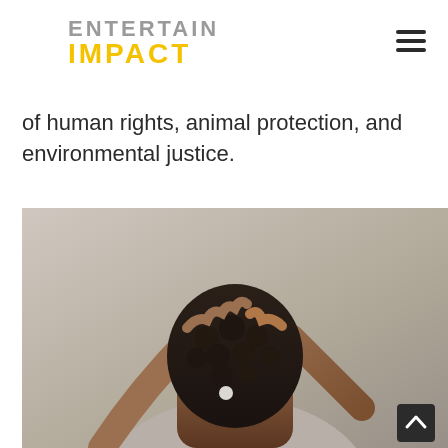[Figure (logo): Entertain Impact logo — 'ENTERTAIN' in gray uppercase bold, 'IMPACT' in yellow/gold uppercase bold below]
[Figure (infographic): Hamburger menu icon — three dark horizontal lines stacked]
of human rights, animal protection, and environmental justice.
[Figure (photo): Close-up photo of a person viewed from behind, hands resting on their head with dark locs, wearing a moon phase hair pin, soft linen background]